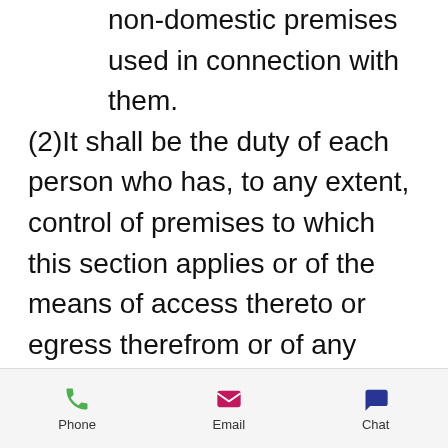non-domestic premises used in connection with them.
(2)It shall be the duty of each person who has, to any extent, control of premises to which this section applies or of the means of access thereto or egress therefrom or of any plant or substance in such premises to take such measures as it is reasonable for a person in his position to take to
Phone  Email  Chat